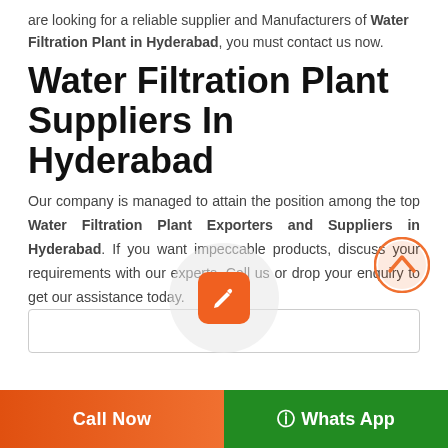are looking for a reliable supplier and Manufacturers of Water Filtration Plant in Hyderabad, you must contact us now.
Water Filtration Plant Suppliers In Hyderabad
Our company is managed to attain the position among the top Water Filtration Plant Exporters and Suppliers in Hyderabad. If you want impeccable products, discuss your requirements with our experts. Call us or drop your enquiry to get our assistance today.
[Figure (other): Orange circular back-to-top button with upward chevron arrow]
[Figure (other): Circular grey background with orange rounded-square edit/pencil icon button in the center]
Call Now
Whats App